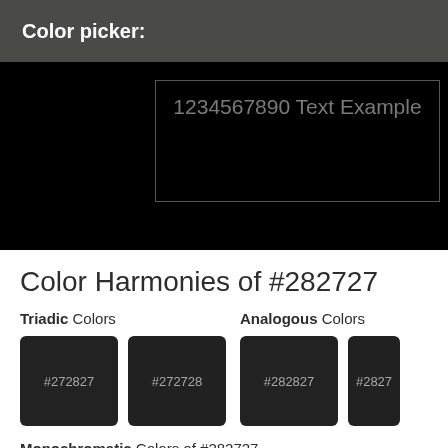Color picker:
[Figure (screenshot): Black preview area with a text preview box showing '1234567890 Text Example' in gray on black background]
Color Harmonies of #282727
Triadic Colors
Analogous Colors
[Figure (infographic): Four color swatches: #272827, #272728 (Triadic), #282827, #2827.. (Analogous), all dark near-black colors]
Monochromatic Colors of #282727